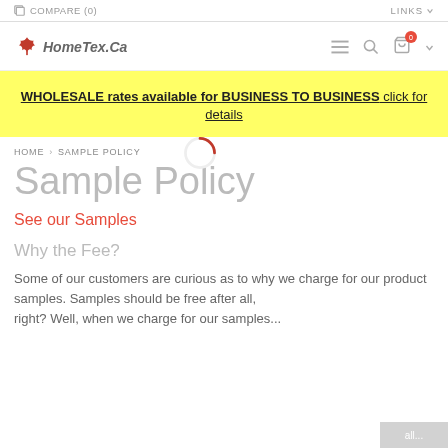COMPARE (0)   LINKS
[Figure (logo): HomeTex.Ca logo with red maple leaf icon]
WHOLESALE rates available for BUSINESS TO BUSINESS click for details
HOME > SAMPLE POLICY
Sample Policy
See our Samples
Why the Fee?
Some of our customers are curious as to why we charge for our product samples. Samples should be free after all, right? Well, when we charge for our samples...